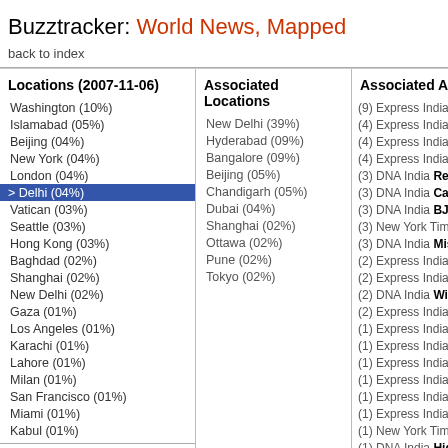Buzztracker: World News, Mapped
back to index
Locations (2007-11-06)
Washington (10%)
Islamabad (05%)
Beijing (04%)
New York (04%)
London (04%)
> Delhi (04%)
Vatican (03%)
Seattle (03%)
Hong Kong (03%)
Baghdad (02%)
Shanghai (02%)
New Delhi (02%)
Gaza (01%)
Los Angeles (01%)
Karachi (01%)
Lahore (01%)
Milan (01%)
San Francisco (01%)
Miami (01%)
Kabul (01%)
Associated Locations
New Delhi (39%)
Hyderabad (09%)
Bangalore (09%)
Beijing (05%)
Chandigarh (05%)
Dubai (04%)
Shanghai (02%)
Ottawa (02%)
Pune (02%)
Tokyo (02%)
Associated Articles
(9) Express India Khoda...
(4) Express India Letters...
(4) Express India We're ...
(4) Express India 6 hurt...
(3) DNA India Rel Energ...
(3) DNA India Cars to ge...
(3) DNA India BJP-JD(S...
(3) New York Times New...
(3) DNA India Missing w...
(2) Express India India 'c...
(2) Express India JD(S)-...
(2) DNA India Wieden+K...
(2) Express India Cricke...
(1) Express India Unsure...
(1) Express India Finally...
(1) Express India Inter-re...
(1) Express India Govt fo...
(1) Express India Dalai c...
(1) Express India Sachin...
(1) New York Times High...
(1) DNA India High renta...
(1) Express India Rahul...